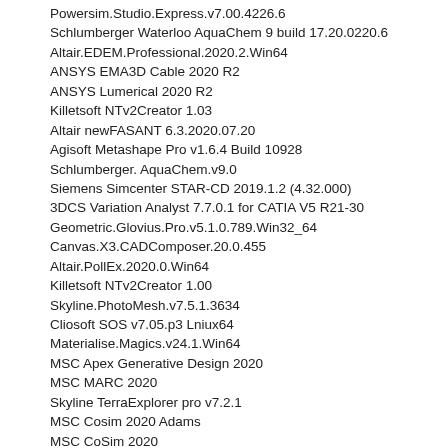Powersim.Studio.Express.v7.00.4226.6
Schlumberger Waterloo AquaChem 9 build 17.20.0220.6
Altair.EDEM.Professional.2020.2.Win64
ANSYS EMA3D Cable 2020 R2
ANSYS Lumerical 2020 R2
Killetsoft NTv2Creator 1.03
Altair newFASANT 6.3.2020.07.20
Agisoft Metashape Pro v1.6.4 Build 10928
Schlumberger. AquaChem.v9.0
Siemens Simcenter STAR-CD 2019.1.2 (4.32.000)
3DCS Variation Analyst 7.7.0.1 for CATIA V5 R21-30
Geometric.Glovius.Pro.v5.1.0.789.Win32_64
Canvas.X3.CADComposer.20.0.455
Altair.PollEx.2020.0.Win64
Killetsoft NTv2Creator 1.00
Skyline.PhotoMesh.v7.5.1.3634
Cliosoft SOS v7.05.p3 Lniux64
Materialise.Magics.v24.1.Win64
MSC Apex Generative Design 2020
MSC MARC 2020
Skyline TerraExplorer pro v7.2.1
MSC Cosim 2020 Adams
MSC CoSim 2020